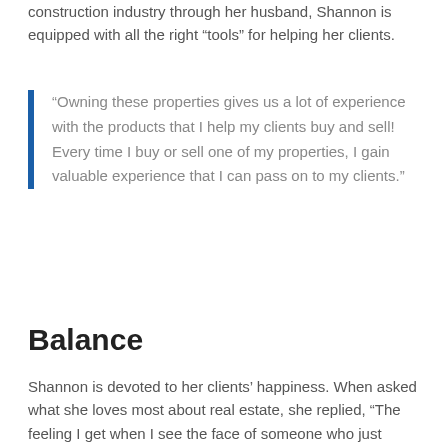this area and her connections in the construction industry through her husband, Shannon is equipped with all the right “tools” for helping her clients.
“Owning these properties gives us a lot of experience with the products that I help my clients buy and sell! Every time I buy or sell one of my properties, I gain valuable experience that I can pass on to my clients.”
Balance
Shannon is devoted to her clients’ happiness. When asked what she loves most about real estate, she replied, “The feeling I get when I see the face of someone who just bought their new home!! It really is the best feeling being a part of such an important moment in their lives.”
“The feeling I get when I see the face